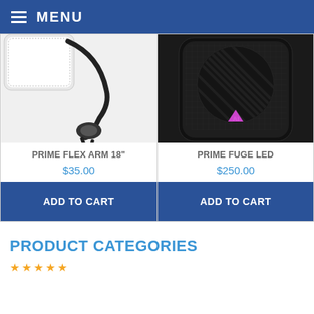MENU
[Figure (photo): Prime Flex Arm 18 inch product photo - flexible arm mount accessory]
PRIME FLEX ARM 18"
$35.00
ADD TO CART
[Figure (photo): Prime Fuge LED product photo - black LED unit with pink AI logo]
PRIME FUGE LED
$250.00
ADD TO CART
PRODUCT CATEGORIES